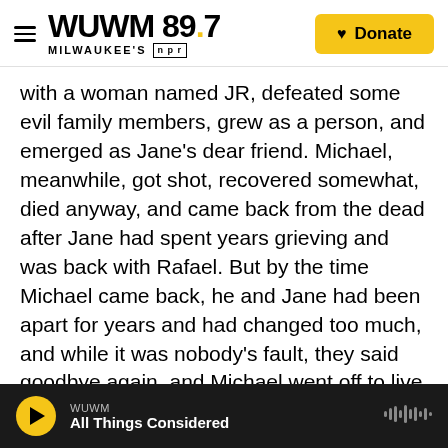WUWM 89.7 MILWAUKEE'S NPR — Donate
with a woman named JR, defeated some evil family members, grew as a person, and emerged as Jane's dear friend. Michael, meanwhile, got shot, recovered somewhat, died anyway, and came back from the dead after Jane had spent years grieving and was back with Rafael. But by the time Michael came back, he and Jane had been apart for years and had changed too much, and while it was nobody's fault, they said goodbye again, and Michael went off to live in Montana where he's happy. Jane got engaged to Rafael, sold her second book, saw her father Rogelio marry her mother Xiomara, and saw her grandmother Alba
WUWM — All Things Considered